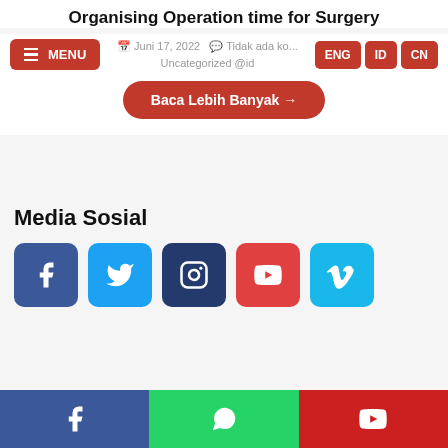Organising Operation time for Surgery
Juni 17, 2022   Tidak ada ko...   Uncategorized @id
Baca Lebih Banyak →
Media Sosial
[Figure (infographic): Row of five social media icon buttons: Facebook (dark blue), Twitter (light blue), Instagram (dark navy), YouTube (red), Vimeo (light blue)]
[Figure (infographic): Bottom navigation bar with three colored sections: Facebook (blue), WhatsApp (green), YouTube (red) with respective icons]